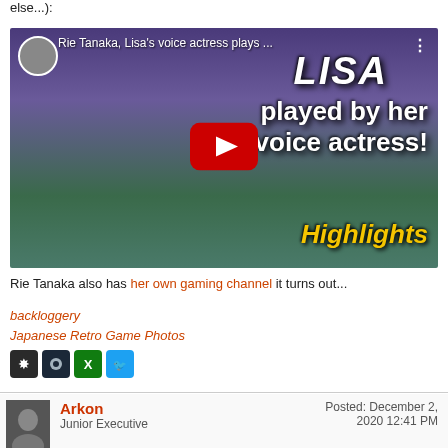else...):
[Figure (screenshot): YouTube video thumbnail for 'Rie Tanaka, Lisa's voice actress plays...' showing anime character Lisa with text 'played by her voice actress! Highlights' and a YouTube play button]
Rie Tanaka also has her own gaming channel it turns out...
backloggery
Japanese Retro Game Photos
[Figure (illustration): Row of social media icons: star/asterisk icon, Steam icon, Xbox icon, Twitter icon]
Arkon
Junior Executive
Posted: December 2, 2020 12:41 PM